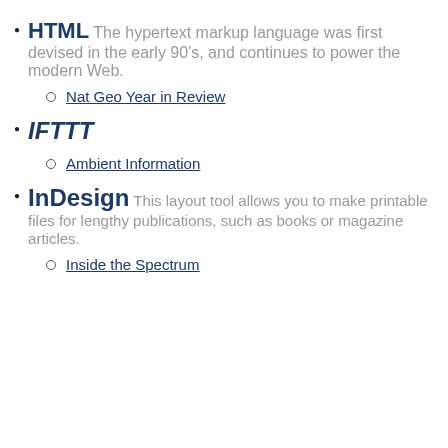HTML The hypertext markup language was first devised in the early 90's, and continues to power the modern Web.
Nat Geo Year in Review
IFTTT
Ambient Information
InDesign This layout tool allows you to make printable files for lengthy publications, such as books or magazine articles.
Inside the Spectrum